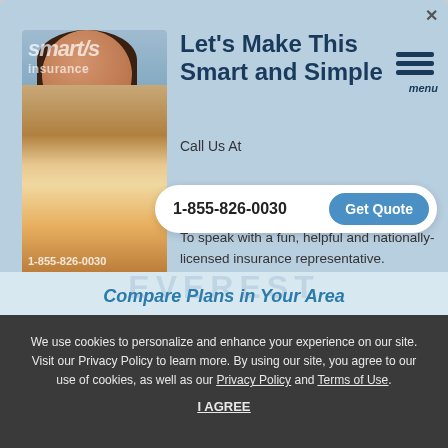[Figure (screenshot): Insurance website modal popup with photo of smiling woman wearing headphones and yellow sweater, overlaid with smart/simple insurance logo and phone number 1-855-826-0030]
Let's Make This Smart and Simple
Call Us At
1-855-826-0030
To speak with a fun, helpful and nationally-licensed insurance representative.
Compare Plans in Your Area
We use cookies to personalize and enhance your experience on our site. Visit our Privacy Policy to learn more. By using our site, you agree to our use of cookies, as well as our Privacy Policy and Terms of Use.
I AGREE